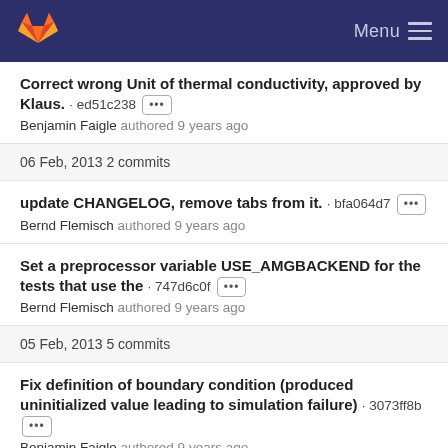GitLab — Menu
Correct wrong Unit of thermal conductivity, approved by Klaus. · ed51c238 ···
Benjamin Faigle authored 9 years ago
06 Feb, 2013 2 commits
update CHANGELOG, remove tabs from it. · bfa064d7 ···
Bernd Flemisch authored 9 years ago
Set a preprocessor variable USE_AMGBACKEND for the tests that use the · 747d6c0f ···
Bernd Flemisch authored 9 years ago
05 Feb, 2013 5 commits
Fix definition of boundary condition (produced uninitialized value leading to simulation failure) · 3073ff8b ···
Benjamin Faigle authored 9 years ago
CMake: also fix name of cc8 test output file · 39e398e6 ···